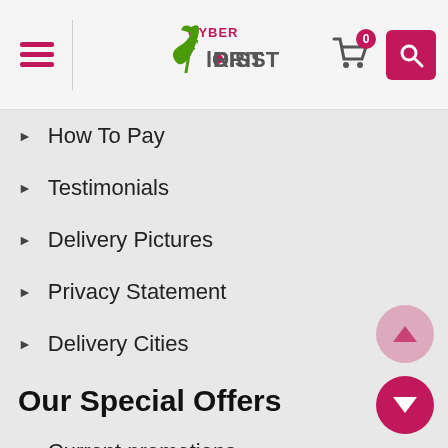[Figure (logo): Cyber Florist logo with stylized F and flower, pink and green colors]
How To Pay
Testimonials
Delivery Pictures
Privacy Statement
Delivery Cities
Our Special Offers
Current promotions
Sales
Our Bestsellers
Roses in Moscow
Roses in Perm